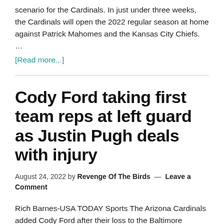scenario for the Cardinals. In just under three weeks, the Cardinals will open the 2022 regular season at home against Patrick Mahomes and the Kansas City Chiefs. … [Read more...]
Cody Ford taking first team reps at left guard as Justin Pugh deals with injury
August 24, 2022 by Revenge Of The Birds — Leave a Comment
Rich Barnes-USA TODAY Sports The Arizona Cardinals added Cody Ford after their loss to the Baltimore Ravens